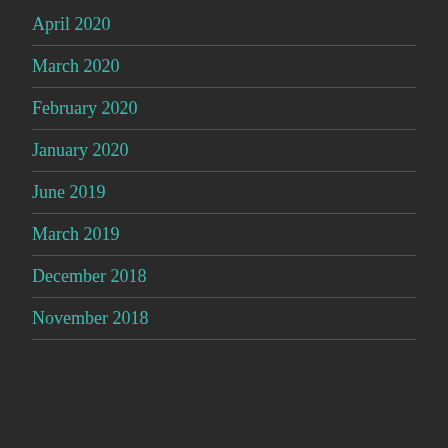April 2020
March 2020
February 2020
January 2020
June 2019
March 2019
December 2018
November 2018